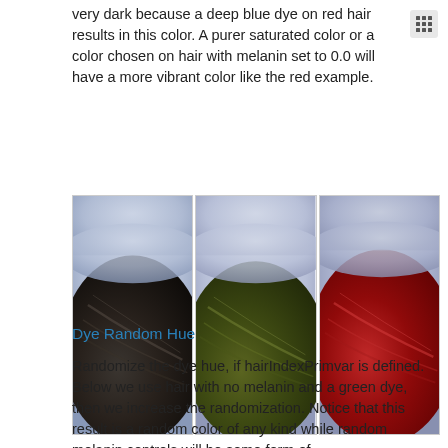very dark because a deep blue dye on red hair results in this color. A purer saturated color or a color chosen on hair with melanin set to 0.0 will have a more vibrant color like the red example.
[Figure (photo): Three side-by-side close-up photos of hair strands dyed different colors: left is very dark (near black/dark brown), center is dark olive green, right is deep red/crimson.]
Dye Random Hue
Randomize the dye hue, if hairIndexPrimvar is defined. Below we use hair with no melanin and a green dye, then we increase the randomization. Notice that this result is a random color of any kind while random melanin controls will be some form of